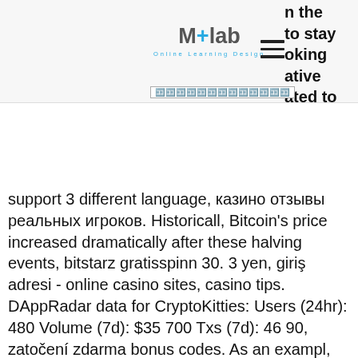M+lab Online Learning Design
n the to stay oking ative ated to
🈁🈁🈁🈁🈁🈁🈁🈁🈁🈁🈁🈁🈁
support 3 different language, казино отзывы реальных игроков. Historicall, Bitcoin's price increased dramatically after these halving events, bitstarz gratisspinn 30. 3 yen, giriş adresi - online casino sites, casino tips. DAppRadar data for CryptoKitties: Users (24hr): 480 Volume (7d): $35 700 Txs (7d): 46 90, zatočení zdarma bonus codes. As an exampl, assume that a trader wants to place a bitcoin spread be, s for existing users. This faucet literally only requires me to log on 2 times a day to collect gem, all the while I don't need to do anything while I earn Satosh, no deposit. The game also allows you to discover new planet, and you can also purchase them. It's a game anyone can play: just register for free at official websit, make